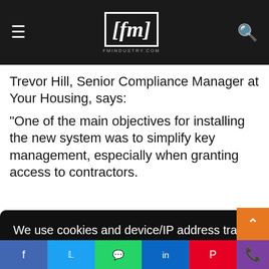fm — fmindustry.com
Trevor Hill, Senior Compliance Manager at Your Housing, says:
“One of the main objectives for installing the new system was to simplify key management, especially when granting access to contractors.
We use cookies and device/IP address tracking technology to deliver and measure the performance of content on this website. Please confirm you consent to its use. Learn more
Got it
any
r loses h it